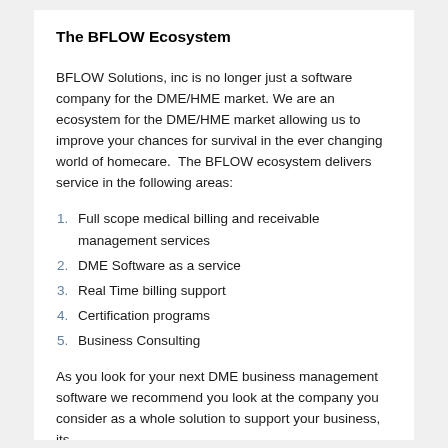The BFLOW Ecosystem
BFLOW Solutions, inc is no longer just a software company for the DME/HME market. We are an ecosystem for the DME/HME market allowing us to improve your chances for survival in the ever changing world of homecare.  The BFLOW ecosystem delivers service in the following areas:
Full scope medical billing and receivable management services
DME Software as a service
Real Time billing support
Certification programs
Business Consulting
As you look for your next DME business management software we recommend you look at the company you consider as a whole solution to support your business, its